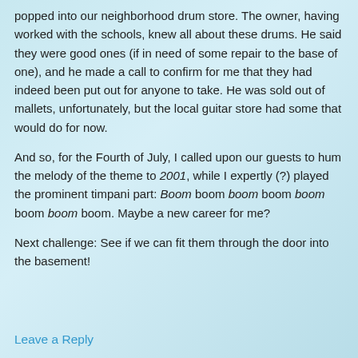popped into our neighborhood drum store. The owner, having worked with the schools, knew all about these drums. He said they were good ones (if in need of some repair to the base of one), and he made a call to confirm for me that they had indeed been put out for anyone to take. He was sold out of mallets, unfortunately, but the local guitar store had some that would do for now.
And so, for the Fourth of July, I called upon our guests to hum the melody of the theme to 2001, while I expertly (?) played the prominent timpani part: Boom boom boom boom boom boom boom boom. Maybe a new career for me?
Next challenge: See if we can fit them through the door into the basement!
Leave a Reply